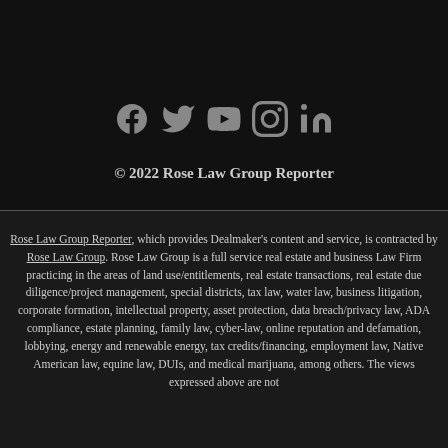[Figure (illustration): Social media icons: Facebook, Twitter, YouTube, Instagram, LinkedIn in gray on dark background]
© 2022 Rose Law Group Reporter
Rose Law Group Reporter, which provides Dealmaker's content and service, is contracted by Rose Law Group. Rose Law Group is a full service real estate and business Law Firm practicing in the areas of land use/entitlements, real estate transactions, real estate due diligence/project management, special districts, tax law, water law, business litigation, corporate formation, intellectual property, asset protection, data breach/privacy law, ADA compliance, estate planning, family law, cyber-law, online reputation and defamation, lobbying, energy and renewable energy, tax credits/financing, employment law, Native American law, equine law, DUIs, and medical marijuana, among others. The views expressed above are not